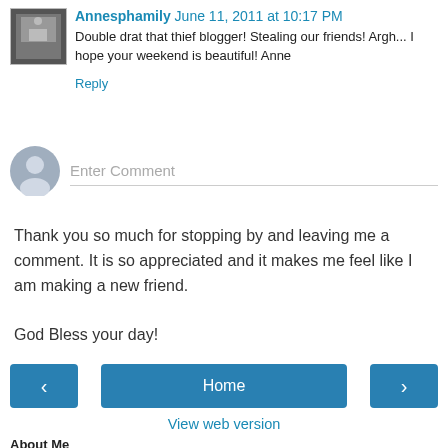Annesphamily June 11, 2011 at 10:17 PM
Double drat that thief blogger! Stealing our friends! Argh... I hope your weekend is beautiful! Anne
Reply
Enter Comment
Thank you so much for stopping by and leaving me a comment. It is so appreciated and it makes me feel like I am making a new friend.

God Bless your day!
‹
Home
›
View web version
About Me